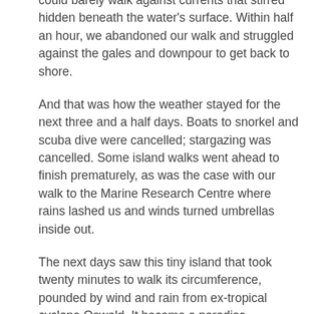could barely walk against currents that stirred hidden beneath the water's surface. Within half an hour, we abandoned our walk and struggled against the gales and downpour to get back to shore.
And that was how the weather stayed for the next three and a half days. Boats to snorkel and scuba dive were cancelled; stargazing was cancelled. Some island walks went ahead to finish prematurely, as was the case with our walk to the Marine Research Centre where rains lashed us and winds turned umbrellas inside out.
The next days saw this tiny island that took twenty minutes to walk its circumference, pounded by wind and rain from ex-tropical cyclone Oswald. It became a paradise overtaken by a ferocity of nature. I looked out from the lounge that we had been confined to most mornings, afternoons and nights, to where the day before, I sipped a cocktail on the water's edge looking out to a shimmering, turquoise sea. Now, waves pounded rocks up to where I sat admiring that view and which had turned stirred as a grey, frothy milkshake on the roof edge. If I were there again, I would surely be